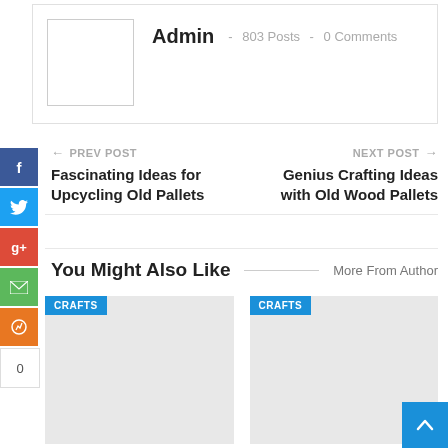Admin · 803 Posts · 0 Comments
← PREV POST | Fascinating Ideas for Upcycling Old Pallets
NEXT POST → | Genius Crafting Ideas with Old Wood Pallets
You Might Also Like   More From Author
[Figure (other): CRAFTS category card placeholder]
[Figure (other): CRAFTS category card placeholder]